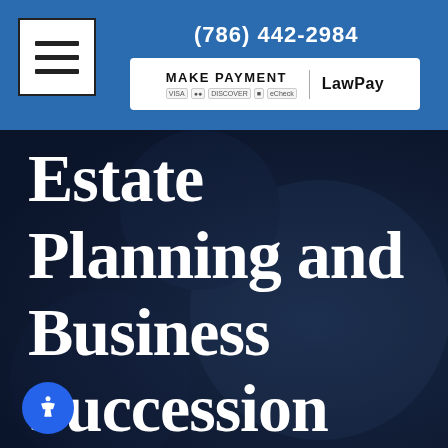(786) 442-2984 | MAKE PAYMENT | LawPay
Estate Planning and Business Succession